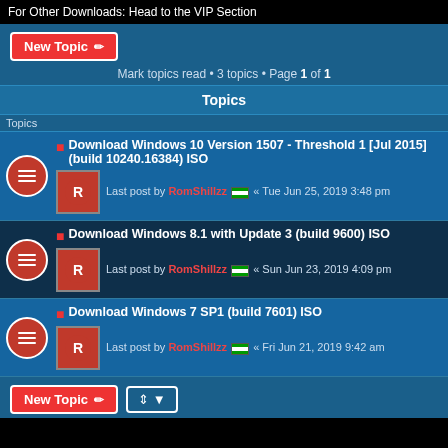For Other Downloads: Head to the VIP Section
New Topic
Mark topics read • 3 topics • Page 1 of 1
Topics
Topics
Download Windows 10 Version 1507 - Threshold 1 [Jul 2015] (build 10240.16384) ISO
Last post by RomShillzz • Tue Jun 25, 2019 3:48 pm
Download Windows 8.1 with Update 3 (build 9600) ISO
Last post by RomShillzz • Sun Jun 23, 2019 4:09 pm
Download Windows 7 SP1 (build 7601) ISO
Last post by RomShillzz • Fri Jun 21, 2019 9:42 am
Mark topics read • 3 topics • Page 1 of 1